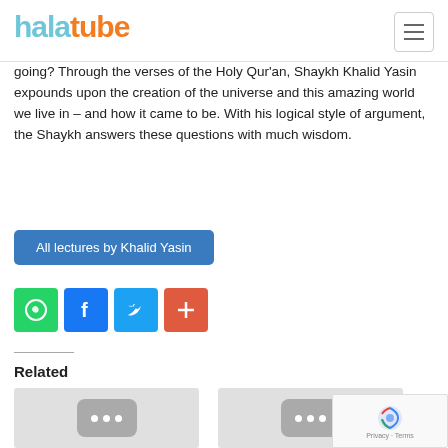halaltube
going? Through the verses of the Holy Qur'an, Shaykh Khalid Yasin expounds upon the creation of the universe and this amazing world we live in – and how it came to be. With his logical style of argument, the Shaykh answers these questions with much wisdom.
All lectures by Khalid Yasin
[Figure (infographic): Social sharing icons: WhatsApp (green), Facebook (blue), Twitter (light blue), More/Add (red-orange)]
Related
[Figure (photo): Video thumbnail placeholder with YouTube-style icon (three dots)]
[Figure (photo): Video thumbnail placeholder with YouTube-style icon (three dots)]
[Figure (other): reCAPTCHA badge with Privacy and Terms links]